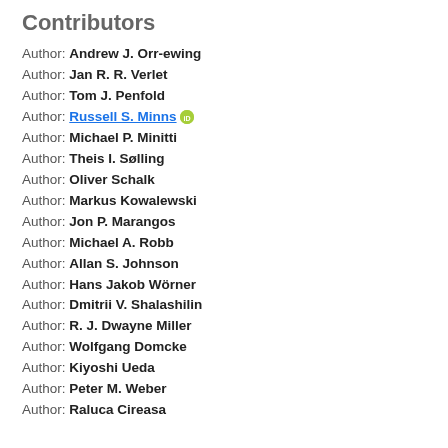Contributors
Author: Andrew J. Orr-ewing
Author: Jan R. R. Verlet
Author: Tom J. Penfold
Author: Russell S. Minns [ORCID]
Author: Michael P. Minitti
Author: Theis I. Sølling
Author: Oliver Schalk
Author: Markus Kowalewski
Author: Jon P. Marangos
Author: Michael A. Robb
Author: Allan S. Johnson
Author: Hans Jakob Wörner
Author: Dmitrii V. Shalashilin
Author: R. J. Dwayne Miller
Author: Wolfgang Domcke
Author: Kiyoshi Ueda
Author: Peter M. Weber
Author: Raluca Cireasa